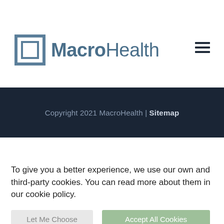MacroHealth
Copyright 2021 MacroHealth | Sitemap
To give you a better experience, we use our own and third-party cookies. You can read more about them in our cookie policy.
Let Me Choose
Accept All Cookies